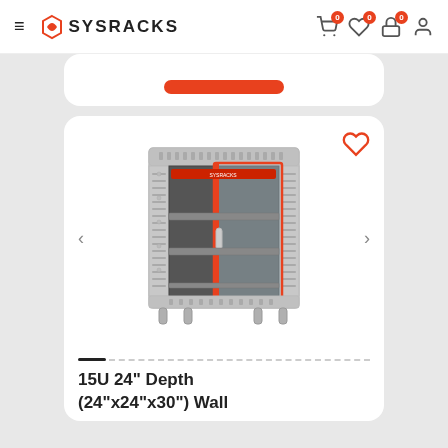SYSRACKS
[Figure (photo): A gray server rack cabinet (15U 24" Depth, 24"x24"x30") with glass front door open, showing interior shelves, ventilation panels on sides, and adjustable feet.]
15U 24" Depth (24"x24"x30") Wall